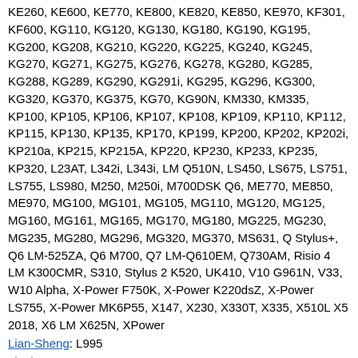KE260, KE600, KE770, KE800, KE820, KE850, KE970, KF301, KF600, KG110, KG120, KG130, KG180, KG190, KG195, KG200, KG208, KG210, KG220, KG225, KG240, KG245, KG270, KG271, KG275, KG276, KG278, KG280, KG285, KG288, KG289, KG290, KG291i, KG295, KG296, KG300, KG320, KG370, KG375, KG70, KG90N, KM330, KM335, KP100, KP105, KP106, KP107, KP108, KP109, KP110, KP112, KP115, KP130, KP135, KP170, KP199, KP200, KP202, KP202i, KP210a, KP215, KP215A, KP220, KP230, KP233, KP235, KP320, L23AT, L342i, L343i, LM Q510N, LS450, LS675, LS751, LS755, LS980, M250, M250i, M700DSK Q6, ME770, ME850, ME970, MG100, MG101, MG105, MG110, MG120, MG125, MG160, MG161, MG165, MG170, MG180, MG225, MG230, MG235, MG280, MG296, MG320, MG370, MS631, Q Stylus+, Q6 LM-525ZA, Q6 M700, Q7 LM-Q610EM, Q730AM, Risio 4 LM K300CMR, S310, Stylus 2 K520, UK410, V10 G961N, V33, W10 Alpha, X-Power F750K, X-Power K220dsZ, X-Power LS755, X-Power MK6P55, X147, X230, X330T, X335, X510L X5 2018, X6 LM X625N, XPower
Lian-Sheng: L995
Lianke: P100
Libercell: KT400, KT500, KT8800
Life: DST01
Linq: X100, X300
Lion: 12, 7, 8
Lipiec: T800
LiteTel: LT4501
Lixin: 5800, E80, E85, G2
Lobster: 485, 544, 575, S621
Logic: M3
Logicom: La-Tab 115, Le Posh 170, Le Smooth FR, LeMoov
LongTel: E3, S800, S88
LongXing: M3
Lontin: 8820, E69, E71, E71i, RH165 E71i
Louis: A502, V168